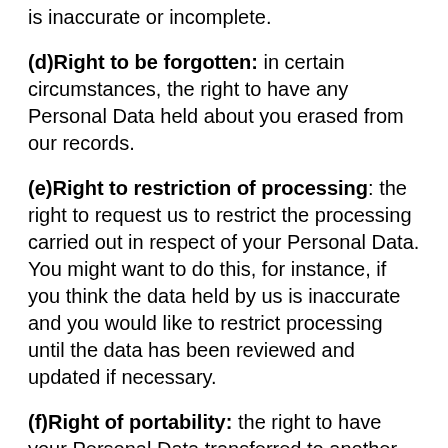is inaccurate or incomplete.
(d)Right to be forgotten: in certain circumstances, the right to have any Personal Data held about you erased from our records.
(e)Right to restriction of processing: the right to request us to restrict the processing carried out in respect of your Personal Data. You might want to do this, for instance, if you think the data held by us is inaccurate and you would like to restrict processing until the data has been reviewed and updated if necessary.
(f)Right of portability: the right to have your Personal Data transferred to another organisation, to the extent it was provided in a structured, commonly used and machine-